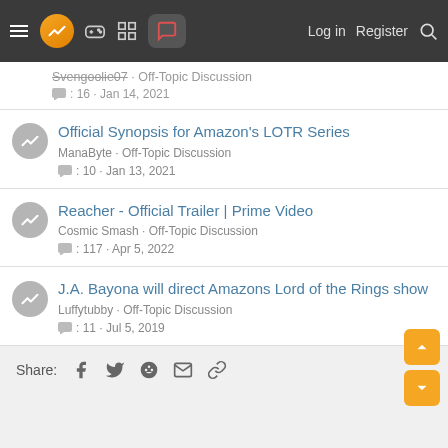Navigation bar with logo, icons, Log in, Register, Search
Svengoolie07 · Off-Topic Discussion :: 16 · Jan 14, 2021
Official Synopsis for Amazon's LOTR Series — ManaByte · Off-Topic Discussion :: 10 · Jan 13, 2021
Reacher - Official Trailer | Prime Video — Cosmic Smash · Off-Topic Discussion :: 117 · Apr 5, 2022
J.A. Bayona will direct Amazons Lord of the Rings show — Luffytubby · Off-Topic Discussion :: 11 · Jul 5, 2019
Share: Facebook Twitter Reddit Email Link